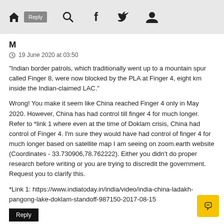Home Reply Search Facebook Twitter User
M
19 June 2020 at 03:50
"Indian border patrols, which traditionally went up to a mountain spur called Finger 8, were now blocked by the PLA at Finger 4, eight km inside the Indian-claimed LAC."
Wrong! You make it seem like China reached Finger 4 only in May 2020. However, China has had control till finger 4 for much longer. Refer to *link 1 where even at the time of Doklam crisis, China had control of Finger 4. I'm sure they would have had control of finger 4 for much longer based on satellite map I am seeing on zoom.earth website (Coordinates - 33.730906,78.762222). Either you didn't do proper research before writing or you are trying to discredit the government. Request you to clarify this.
*Link 1: https://www.indiatoday.in/india/video/india-china-ladakh-pangong-lake-doklam-standoff-987150-2017-08-15
Reply
Replies